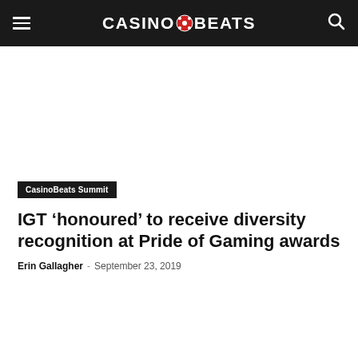CasinoBeats
[Advertisement area]
CasinoBeats Summit
IGT ‘honoured’ to receive diversity recognition at Pride of Gaming awards
Erin Gallagher - September 23, 2019